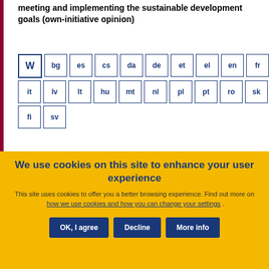meeting and implementing the sustainable development goals (own-initiative opinion)
W bg es cs da de et el en fr hr it lv lt hu mt nl pl pt ro sk sl fi sv
Land use for sustainable food production and ecosystem services (exploratory opinion requested by the future...)
We use cookies on this site to enhance your user experience
This site uses cookies to offer you a better browsing experience. Find out more on how we use cookies and how you can change your settings .